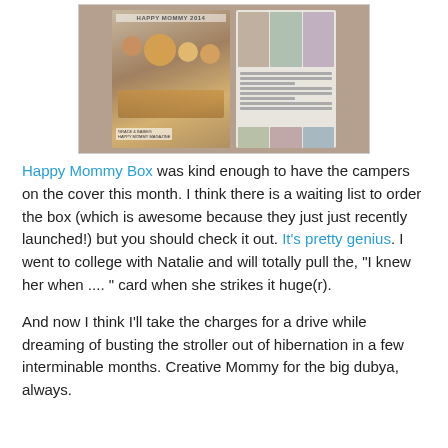[Figure (photo): Photograph of a Happy Mommy Box magazine/pamphlet being held open, showing children on the cover and interior pages with text and small photos]
Happy Mommy Box was kind enough to have the campers on the cover this month. I think there is a waiting list to order the box (which is awesome because they just just recently launched!) but you should check it out. It's pretty genius. I went to college with Natalie and will totally pull the, "I knew her when .... " card when she strikes it huge(r).
And now I think I'll take the charges for a drive while dreaming of busting the stroller out of hibernation in a few interminable months. Creative Mommy for the big dubya, always.